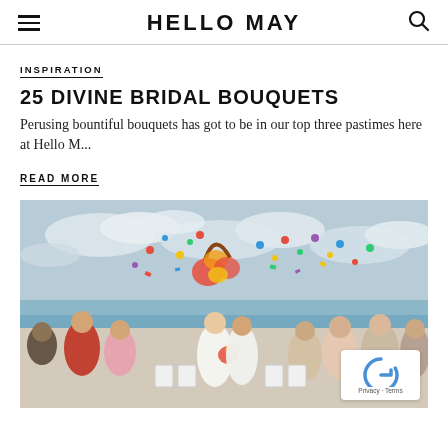HELLO MAY
INSPIRATION
25 DIVINE BRIDAL BOUQUETS
Perusing bountiful bouquets has got to be in our top three pastimes here at Hello M...
READ MORE
[Figure (photo): Wedding ceremony photo: a couple walking down the aisle outdoors near the ocean while guests throw colorful confetti. The bride wears a white floral print dress and holds an orange bouquet; the groom wears a white floral print suit. A floral arch is visible in the background.]